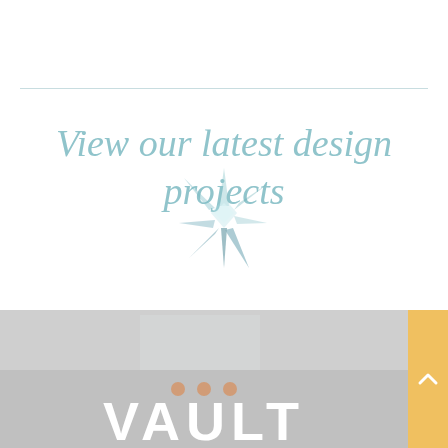View our latest design projects
[Figure (illustration): Star/sparkle geometric diamond shape made of triangular facets in teal and blue tones, centered on the page overlapping the text]
[Figure (photo): Bottom section showing a grey interior room photograph with three orange/amber decorative dots and the word VAULT in large white bold letters at the bottom]
[Figure (other): Golden/amber scroll-to-top button with an upward chevron arrow on the right side]